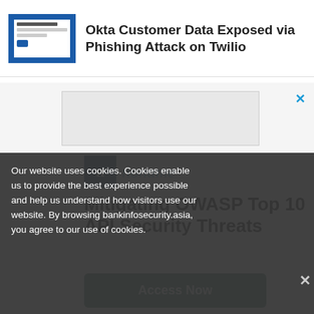[Figure (screenshot): Article thumbnail showing a document preview with blue background and text about phishing campaign]
Okta Customer Data Exposed via Phishing Attack on Twilio
[Figure (screenshot): Advertisement area with light gray background and close button (X) in blue]
[Figure (logo): Noname security logo - dark blue square with 'n' letter and noname wordmark in teal]
Mitigating OWASP Top 10 API Security Threats
Our website uses cookies. Cookies enable us to provide the best experience possible and help us understand how visitors use our website. By browsing bankinfosecurity.asia, you agree to our use of cookies.
Access Now